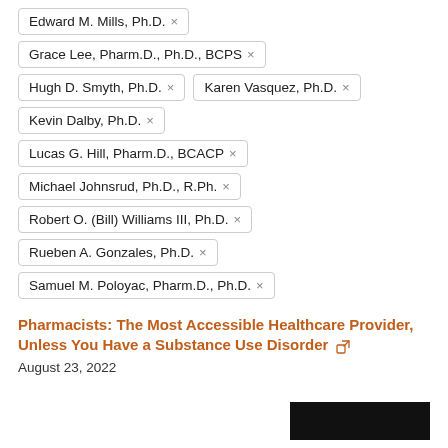Edward M. Mills, Ph.D. ×
Grace Lee, Pharm.D., Ph.D., BCPS ×
Hugh D. Smyth, Ph.D. ×
Karen Vasquez, Ph.D. ×
Kevin Dalby, Ph.D. ×
Lucas G. Hill, Pharm.D., BCACP ×
Michael Johnsrud, Ph.D., R.Ph. ×
Robert O. (Bill) Williams III, Ph.D. ×
Rueben A. Gonzales, Ph.D. ×
Samuel M. Poloyac, Pharm.D., Ph.D. ×
Pharmacists: The Most Accessible Healthcare Provider, Unless You Have a Substance Use Disorder
August 23, 2022